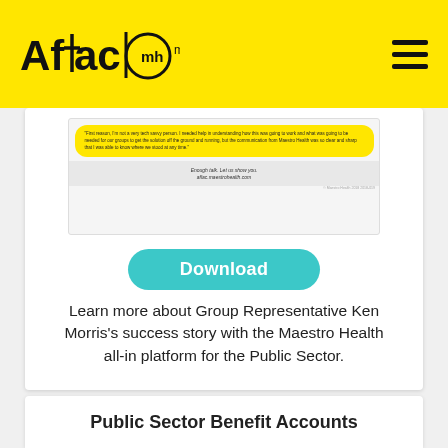[Figure (logo): Aflac | maestro health logo on yellow banner with hamburger menu icon]
[Figure (screenshot): Screenshot of a marketing document with a yellow speech bubble containing testimonial text, and bottom bar reading 'Enough talk. Let us show you. aflac.maestrohealth.com']
[Figure (other): Teal Download button]
Learn more about Group Representative Ken Morris's success story with the Maestro Health all-in platform for the Public Sector.
Public Sector Benefit Accounts